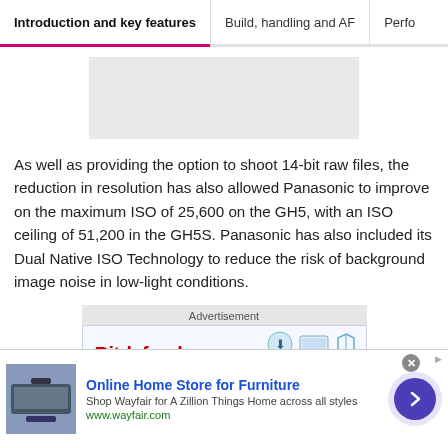Introduction and key features | Build, handling and AF | Perfo
[Figure (other): Gray placeholder image block]
As well as providing the option to shoot 14-bit raw files, the reduction in resolution has also allowed Panasonic to improve on the maximum ISO of 25,600 on the GH5, with an ISO ceiling of 51,200 in the GH5S. Panasonic has also included its Dual Native ISO Technology to reduce the risk of background image noise in low-light conditions.
[Figure (other): Advertisement block showing Bitdefender ad with tech device icons]
[Figure (other): Bottom banner advertisement for Wayfair Online Home Store for Furniture with navigation arrow]